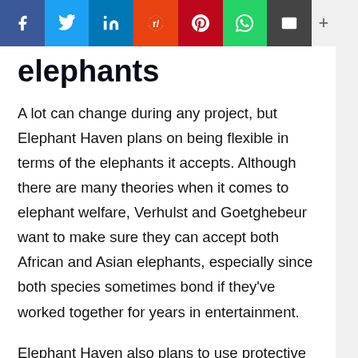[Figure (other): Social media share bar with Facebook, Twitter, LinkedIn, Reddit, Pinterest, WhatsApp, Email buttons and a plus icon]
elephants
A lot can change during any project, but Elephant Haven plans on being flexible in terms of the elephants it accepts. Although there are many theories when it comes to elephant welfare, Verhulst and Goetghebeur want to make sure they can accept both African and Asian elephants, especially since both species sometimes bond if they've worked together for years in entertainment.
Elephant Haven also plans to use protective contact with the elephants once they arrive,